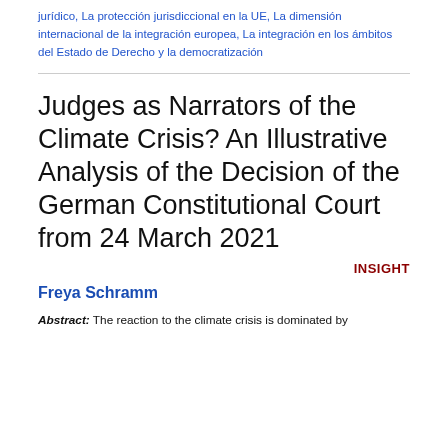jurídico, La protección jurisdiccional en la UE, La dimensión internacional de la integración europea, La integración en los ámbitos del Estado de Derecho y la democratización
Judges as Narrators of the Climate Crisis? An Illustrative Analysis of the Decision of the German Constitutional Court from 24 March 2021
INSIGHT
Freya Schramm
Abstract: The reaction to the climate crisis is dominated by …